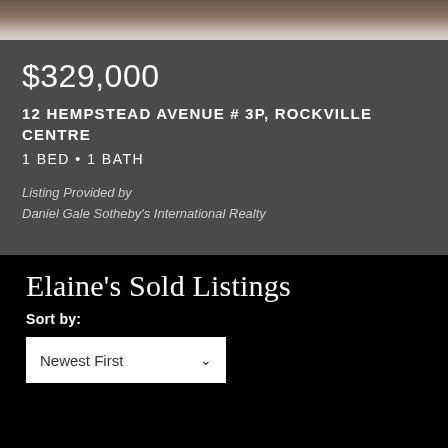[Figure (photo): Partial interior photo of a room, cropped at top of page]
$329,000
12 HEMPSTEAD AVENUE # 3P, ROCKVILLE CENTRE
1 BED • 1 BATH
Listing Provided by
Daniel Gale Sotheby's International Realty
Elaine's Sold Listings
Sort by:
Newest First